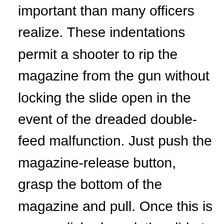important than many officers realize. These indentations permit a shooter to rip the magazine from the gun without locking the slide open in the event of the dreaded double-feed malfunction. Just push the magazine-release button, grasp the bottom of the magazine and pull. Once this is accomplished, work the slide to eject any garbage from the chamber, simplifying what may be a complex problem in the middle of a fight. The frame’s dust cover, like that on many modern pistols, features a molded picatinny rail for adding lights and lasers to the gun, freeing an officer s